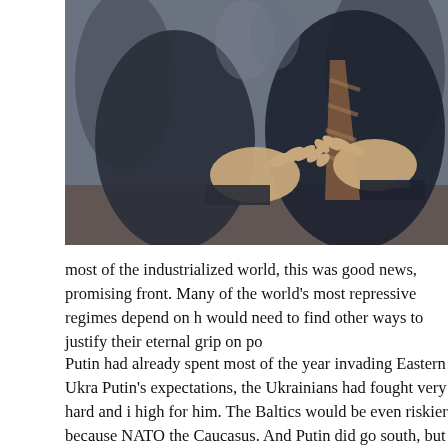[Figure (photo): Close-up photograph of two people in suits gesturing with their hands during a meeting or discussion, blurred background with other people visible]
most of the industrialized world, this was good news, promising front. Many of the world's most repressive regimes depend on h would need to find other ways to justify their eternal grip on po
Putin had already spent most of the year invading Eastern Ukra Putin's expectations, the Ukrainians had fought very hard and i high for him. The Baltics would be even riskier because NATO the Caucasus. And Putin did go south, but even further, all the Middle East has so many of the ingredients Putin is always inte naval base to "protect" from outside enemies. Third, Syria has propaganda in case of total economic collapse in Russia. And l
The way things have gone in the Middle East are an excellent disadvantages when matched against the free world. The impo